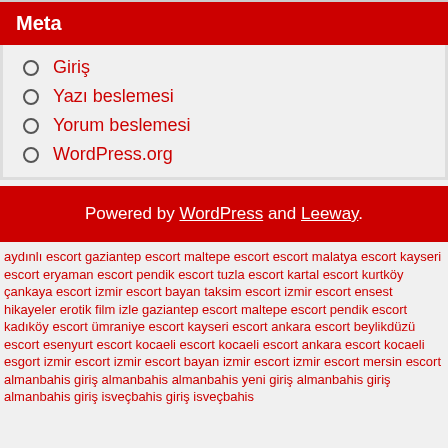Meta
Giriş
Yazı beslemesi
Yorum beslemesi
WordPress.org
Powered by WordPress and Leeway.
aydınlı escort gaziantep escort maltepe escort escort malatya escort kayseri escort eryaman escort pendik escort tuzla escort kartal escort kurtköy çankaya escort izmir escort bayan taksim escort izmir escort ensest hikayeler erotik film izle gaziantep escort maltepe escort pendik escort kadıköy escort ümraniye escort kayseri escort ankara escort beylikdüzü escort esenyurt escort kocaeli escort kocaeli escort ankara escort kocaeli esgort izmir escort izmir escort bayan izmir escort izmir escort mersin escort almanbahis giriş almanbahis almanbahis yeni giriş almanbahis giriş almanbahis giriş isveçbahis giriş isveçbahis